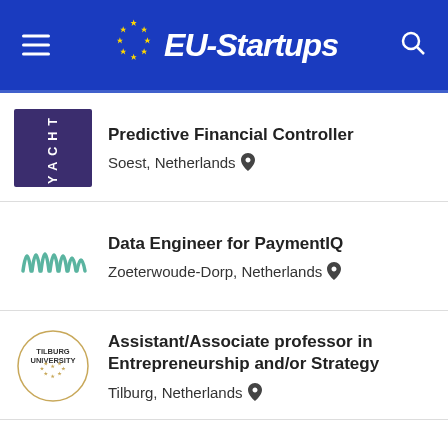EU-Startups
Predictive Financial Controller
Soest, Netherlands
Data Engineer for PaymentIQ
Zoeterwoude-Dorp, Netherlands
Assistant/Associate professor in Entrepreneurship and/or Strategy
Tilburg, Netherlands